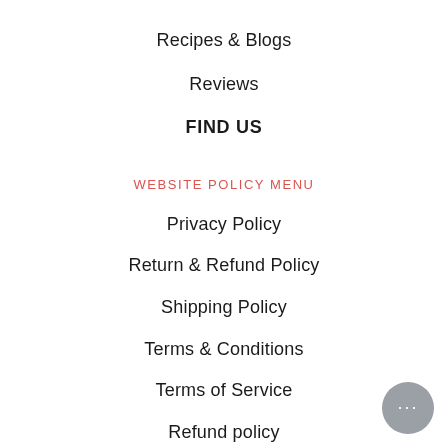Recipes & Blogs
Reviews
FIND US
WEBSITE POLICY MENU
Privacy Policy
Return & Refund Policy
Shipping Policy
Terms & Conditions
Terms of Service
Refund policy